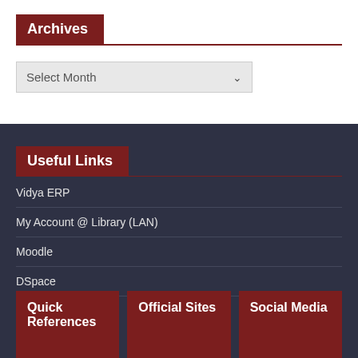Archives
Select Month
Useful Links
Vidya ERP
My Account @ Library (LAN)
Moodle
DSpace
Quick References
Official Sites
Social Media